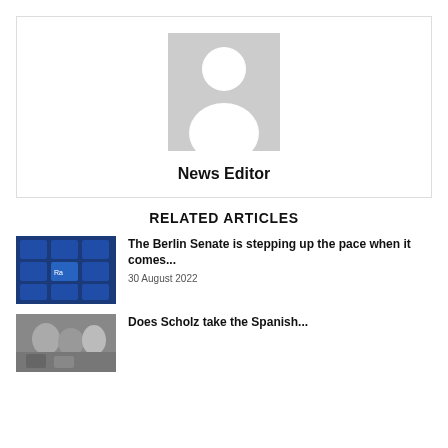[Figure (illustration): Grey placeholder avatar icon showing a silhouette of a person (head and shoulders) on a grey rectangle background, centered in a bordered card]
News Editor
RELATED ARTICLES
[Figure (photo): Photo of a digital board or touchscreen with blue-tinted interface elements, showing keyboard and cards layout]
The Berlin Senate is stepping up the pace when it comes...
30 August 2022
[Figure (photo): Photo showing people, partially visible, related to a Scholz article]
Does Scholz take the Spanish...